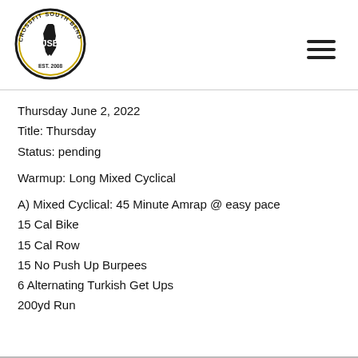[Figure (logo): CrossFit South Bend circular logo with 'CROSSFIT SOUTH BEND' around the top, 'JSB' initials in the center, Indiana state outline, and 'EST. 2008' at the bottom. Black and gold color scheme.]
Thursday June 2, 2022
Title: Thursday
Status: pending
Warmup: Long Mixed Cyclical
A) Mixed Cyclical: 45 Minute Amrap @ easy pace
15 Cal Bike
15 Cal Row
15 No Push Up Burpees
6 Alternating Turkish Get Ups
200yd Run